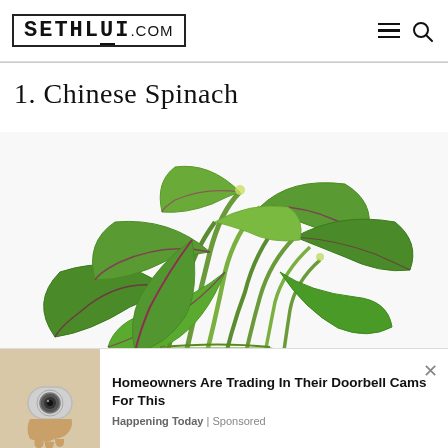SETHLUI.COM
1. Chinese Spinach
[Figure (photo): A bunch of fresh Chinese spinach (amaranth) with green leaves and purple-red veins/stems, photographed on a white background]
Homeowners Are Trading In Their Doorbell Cams For This
Happening Today | Sponsored